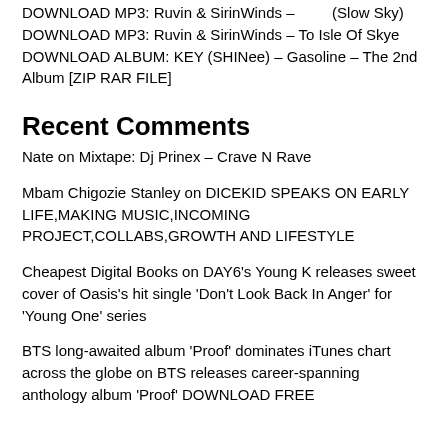DOWNLOAD MP3: Ruvin & SirinWinds – (Slow Sky)
DOWNLOAD MP3: Ruvin & SirinWinds – To Isle Of Skye
DOWNLOAD ALBUM: KEY (SHINee) – Gasoline – The 2nd Album [ZIP RAR FILE]
Recent Comments
Nate on Mixtape: Dj Prinex – Crave N Rave
Mbam Chigozie Stanley on DICEKID SPEAKS ON EARLY LIFE,MAKING MUSIC,INCOMING PROJECT,COLLABS,GROWTH AND LIFESTYLE
Cheapest Digital Books on DAY6's Young K releases sweet cover of Oasis's hit single 'Don't Look Back In Anger' for 'Young One' series
BTS long-awaited album 'Proof' dominates iTunes chart across the globe on BTS releases career-spanning anthology album 'Proof' DOWNLOAD FREE